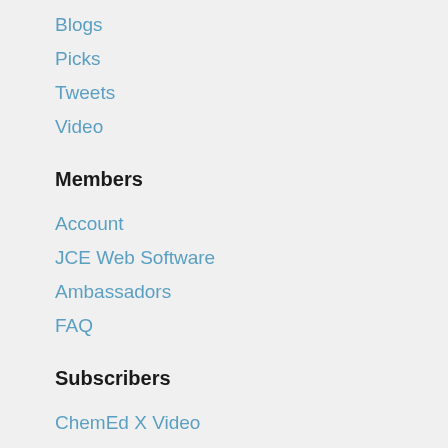Blogs
Picks
Tweets
Video
Members
Account
JCE Web Software
Ambassadors
FAQ
Subscribers
ChemEd X Video
About
About ChemEd X
Journal of Chemical Education